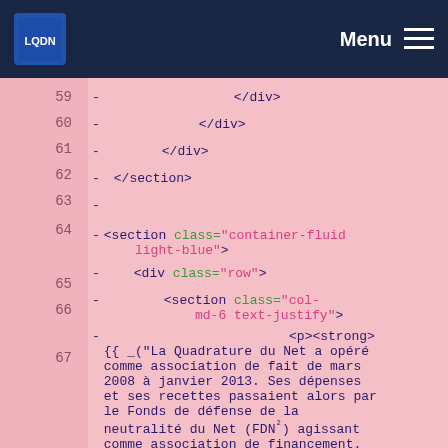[Figure (screenshot): Navigation bar with logo and Menu hamburger button on dark navy background]
Code viewer showing HTML source lines 59-67 with syntax highlighting on pink background. Lines show closing div and section tags, followed by an opening section with class='container-fluid light-blue', div class='row', section class='col-md-6 text-justify', and a paragraph with strong tag containing translated French text about La Quadrature du Net.